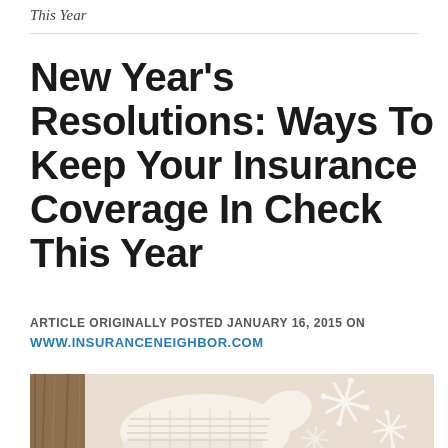This Year
New Year’s Resolutions: Ways To Keep Your Insurance Coverage In Check This Year
ARTICLE ORIGINALLY POSTED JANUARY 16, 2015 ON
WWW.INSURANCENEIGHBOR.COM
[Figure (photo): Winter-themed photo showing white knitted mittens and decorative white snowflake ornaments on a light background]